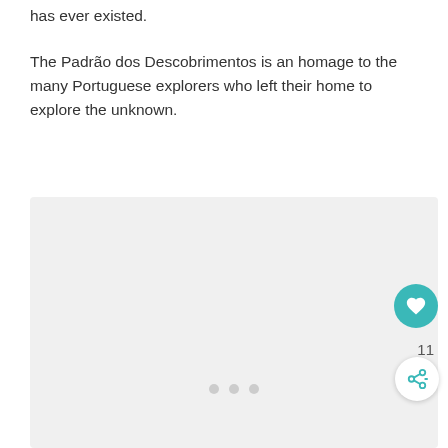has ever existed. The Padrão dos Descobrimentos is an homage to the many Portuguese explorers who left their home to explore the unknown.
[Figure (photo): A large light gray placeholder image area with three small gray dots at the bottom center, indicating an image carousel. A teal heart/like button and a share button are overlaid at the bottom right.]